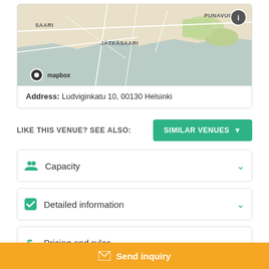[Figure (map): Mapbox map showing Helsinki area including PUNAVUORI, JÄTKÄSAARI, SAARI districts]
Address: Ludviginkatu 10, 00130 Helsinki
LIKE THIS VENUE? SEE ALSO:
SIMILAR VENUES ↓
Capacity
Detailed information
Pricing and rules
Send inquiry